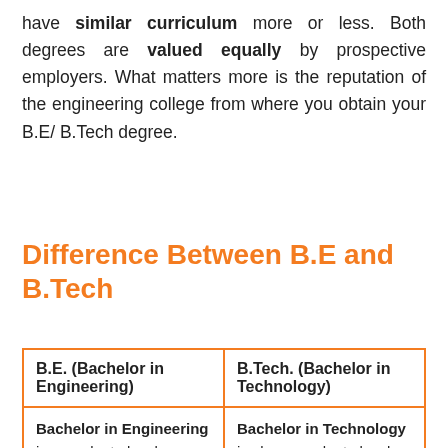have similar curriculum more or less. Both degrees are valued equally by prospective employers. What matters more is the reputation of the engineering college from where you obtain your B.E/ B.Tech degree.
Difference Between B.E and B.Tech
| B.E. (Bachelor in Engineering) | B.Tech. (Bachelor in Technology) |
| --- | --- |
| Bachelor in Engineering is a graduate level program done directly after a student's 10+2. After a | Bachelor in Technology is also a graduate level program done directly after a student's 10+2. After a |